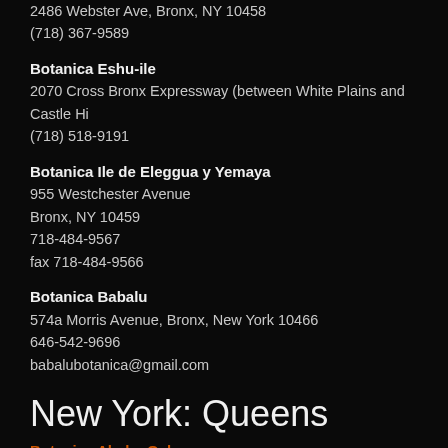2486 Webster Ave, Bronx, NY 10458
(718) 367-9589
Botanica Eshu-ile
2070 Cross Bronx Expressway (between White Plains and Castle Hi
(718) 518-9191
Botanica Ile de Eleggua y Yemaya
955 Westchester Avenue
Bronx, NY 10459
718-484-9567
fax 718-484-9566
Botanica Babalu
574a Morris Avenue, Bronx, New York 10466
646-542-9696
babalubotanica@gmail.com
New York: Queens
Botanica Abebe Oshun